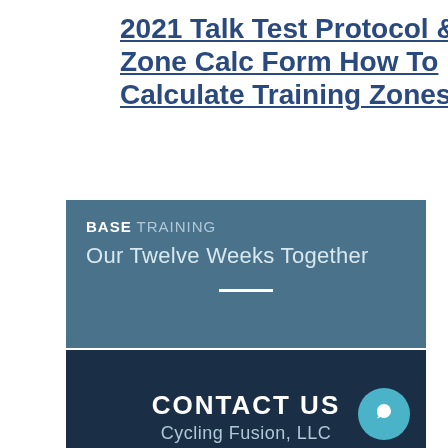2021 Talk Test Protocol & Zone Calc Form How To Calculate Training Zones
[Figure (illustration): Blue banner with 'BASE TRAINING' header and subtitle 'Our Twelve Weeks Together' with a white underline bar]
[Figure (illustration): Dark navy banner showing 'CONTACT US' text with a teal chat bubble icon and partially visible 'Cycling Fusion LLC' text below]